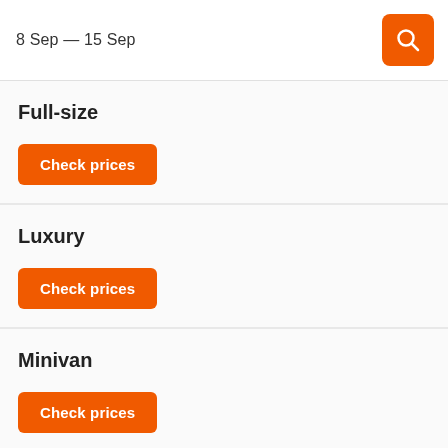8 Sep — 15 Sep
Full-size
Check prices
Luxury
Check prices
Minivan
Check prices